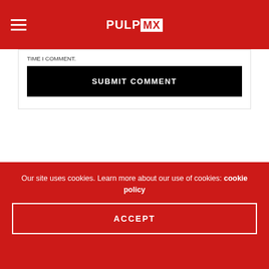PULPMX
TIME I COMMENT.
SUBMIT COMMENT
LATEST POSTS
STORY
FLY RACING MOTO:60 ARCHIVE- BUDDS CREEK MX
AUGUST 18, 2022
Our site uses cookies. Learn more about our use of cookies: cookie policy
ACCEPT